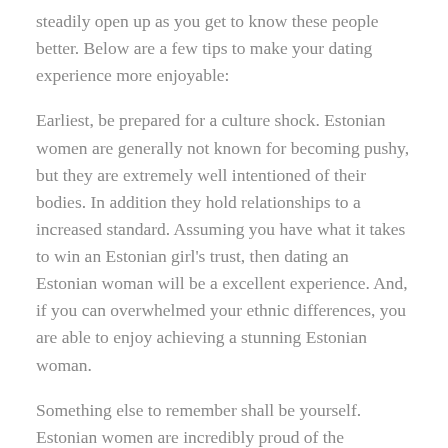steadily open up as you get to know these people better. Below are a few tips to make your dating experience more enjoyable:
Earliest, be prepared for a culture shock. Estonian women are generally not known for becoming pushy, but they are extremely well intentioned of their bodies. In addition they hold relationships to a increased standard. Assuming you have what it takes to win an Estonian girl's trust, then dating an Estonian woman will be a excellent experience. And, if you can overwhelmed your ethnic differences, you are able to enjoy achieving a stunning Estonian woman.
Something else to remember shall be yourself. Estonian women are incredibly proud of the community and family members, so it's essential to show a few respect